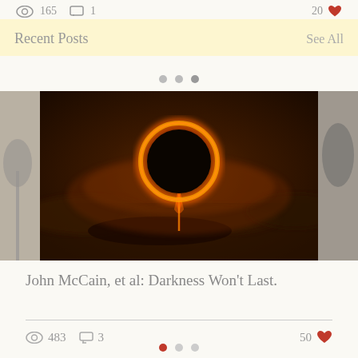165  1   20
Recent Posts
See All
[Figure (photo): Solar eclipse photograph showing a glowing ring of orange-red light around a dark circle, with a beam of light descending downward, set against a dramatic dark cloudy sky.]
John McCain, et al: Darkness Won't Last.
483  3   50